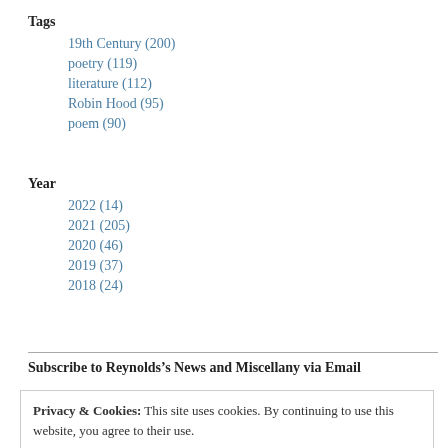Tags
19th Century (200)
poetry (119)
literature (112)
Robin Hood (95)
poem (90)
Year
2022 (14)
2021 (205)
2020 (46)
2019 (37)
2018 (24)
Subscribe to Reynolds’s News and Miscellany via Email
Privacy & Cookies: This site uses cookies. By continuing to use this website, you agree to their use.
To find out more, including how to control cookies, see here: Cookie Policy